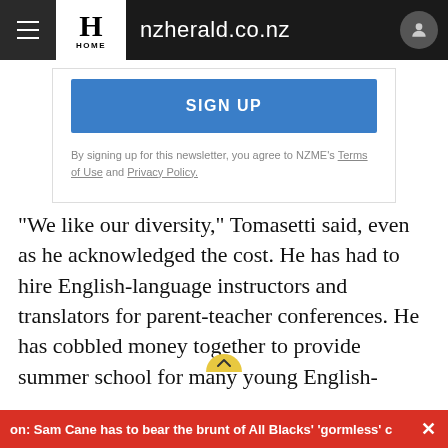nzherald.co.nz
SIGN UP
By signing up for this newsletter, you agree to NZME's Terms of Use and Privacy Policy.
"We like our diversity," Tomasetti said, even as he acknowledged the cost. He has had to hire English-language instructors and translators for parent-teacher conferences. He has cobbled money together to provide summer school for many young English-
on: Sam Cane has to bear the brunt of All Blacks' 'gormless' c